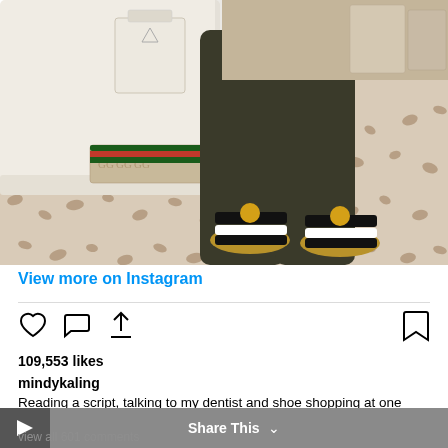[Figure (photo): Instagram photo showing a person sitting on a white sofa/ottoman with luxury handbags (Prada, Gucci) on the couch, wearing dark jeans and black-and-white striped sandals with gold detail, on a leopard print carpet]
View more on Instagram
109,553 likes
mindykaling
Reading a script, talking to my dentist and shoe shopping at one time is how I #multitas…
view all 601 comments
Share This